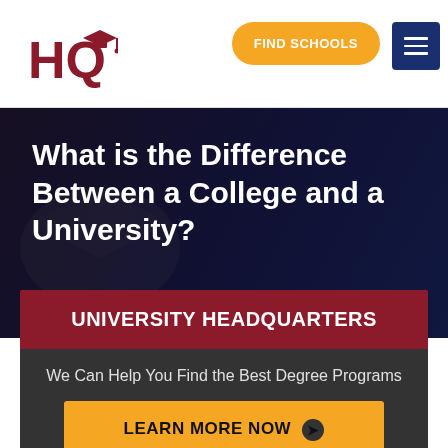[Figure (logo): HQ logo with graduation cap, red letters]
FIND SCHOOLS
What is the Difference Between a College and a University?
UNIVERSITY HEADQUARTERS
We Can Help You Find the Best Degree Programs
LEARN MORE NOW